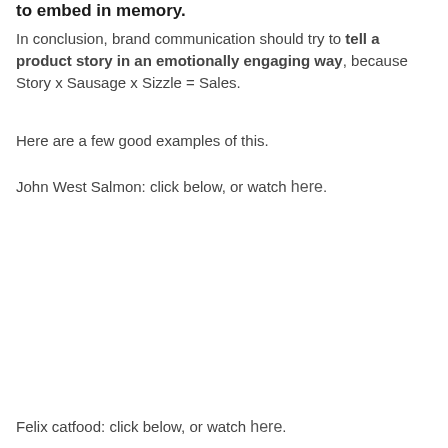to embed in memory.
In conclusion, brand communication should try to tell a product story in an emotionally engaging way, because Story x Sausage x Sizzle = Sales.
Here are a few good examples of this.
John West Salmon: click below, or watch here.
Felix catfood: click below, or watch here.